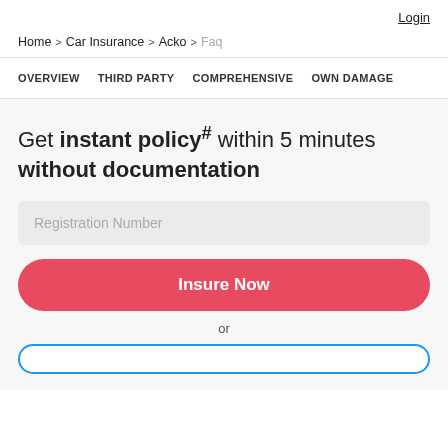Login
Home > Car Insurance > Acko > Faq
OVERVIEW   THIRD PARTY   COMPREHENSIVE   OWN DAMAGE
Get instant policy# within 5 minutes without documentation
Registration Number
Insure Now
or